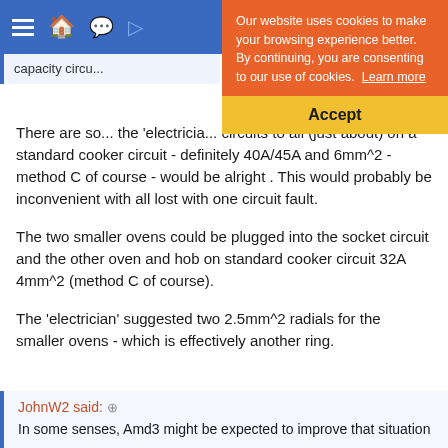Navigation bar with hamburger menu, home icon, back icon
Our website uses cookies to make your browsing experience better. By continuing, you are consenting to our use of cookies. Learn more
Accept
capacity circu...
There are so... the 'electricia... circuits to all (just about) on a standard cooker circuit - definitely 40A/45A and 6mm^2 - method C of course - would be alright . This would probably be inconvenient with all lost with one circuit fault.
The two smaller ovens could be plugged into the socket circuit and the other oven and hob on standard cooker circuit 32A 4mm^2 (method C of course).
The 'electrician' suggested two 2.5mm^2 radials for the smaller ovens - which is effectively another ring.
JohnW2 said: ⊕
In some senses, Amd3 might be expected to improve that situation...